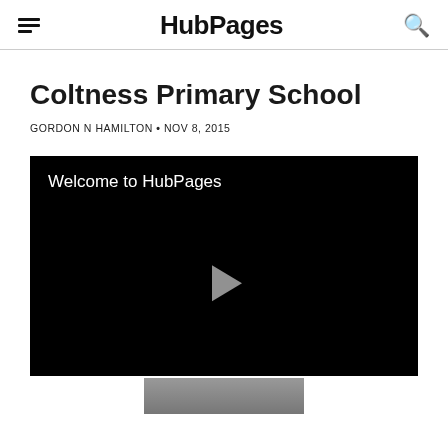HubPages
Coltness Primary School
GORDON N HAMILTON • NOV 8, 2015
[Figure (screenshot): Video player with black background showing 'Welcome to HubPages' text and a play button in the center]
[Figure (photo): Partial photo visible at the bottom of the page]